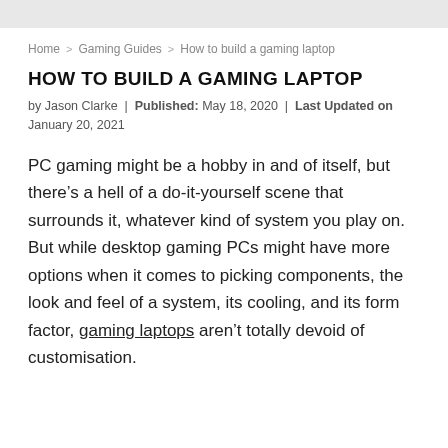Home > Gaming Guides > How to build a gaming laptop
HOW TO BUILD A GAMING LAPTOP
by Jason Clarke | Published: May 18, 2020 | Last Updated on January 20, 2021
PC gaming might be a hobby in and of itself, but there’s a hell of a do-it-yourself scene that surrounds it, whatever kind of system you play on. But while desktop gaming PCs might have more options when it comes to picking components, the look and feel of a system, its cooling, and its form factor, gaming laptops aren’t totally devoid of customisation.